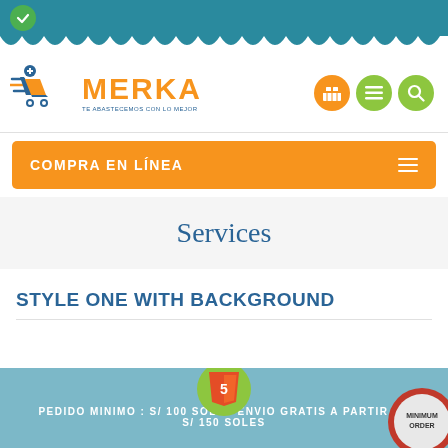[Figure (screenshot): Merka online store website screenshot showing logo, navigation bar with COMPRA EN LÍNEA, Services section header, and STYLE ONE WITH BACKGROUND section with bottom banner showing PEDIDO MINIMO S/100 SOLES ENVIO GRATIS A PARTIR DE S/150 SOLES]